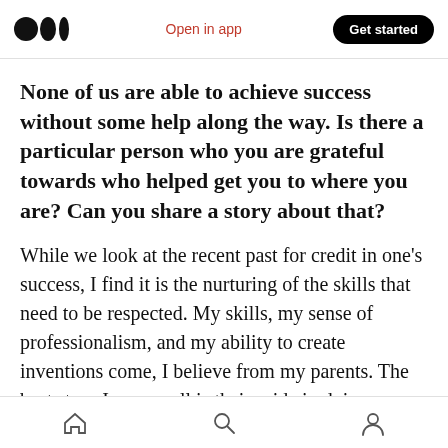Open in app | Get started
None of us are able to achieve success without some help along the way. Is there a particular person who you are grateful towards who helped get you to where you are? Can you share a story about that?
While we look at the recent past for credit in one’s success, I find it is the nurturing of the skills that need to be respected. My skills, my sense of professionalism, and my ability to create inventions come, I believe from my parents. The best story I can recall is their pride in doing
Home | Search | Profile